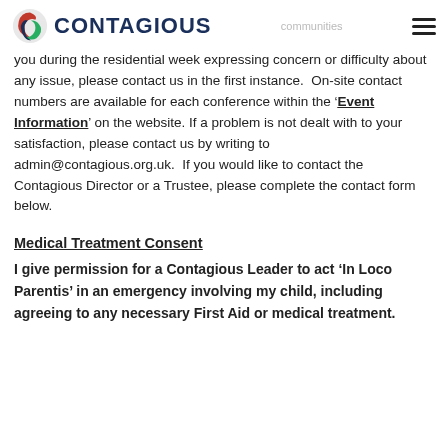CONTAGIOUS
you during the residential week expressing concern or difficulty about any issue, please contact us in the first instance.  On-site contact numbers are available for each conference within the 'Event Information' on the website. If a problem is not dealt with to your satisfaction, please contact us by writing to admin@contagious.org.uk.  If you would like to contact the Contagious Director or a Trustee, please complete the contact form below.
Medical Treatment Consent
I give permission for a Contagious Leader to act 'In Loco Parentis' in an emergency involving my child, including agreeing to any necessary First Aid or medical treatment.